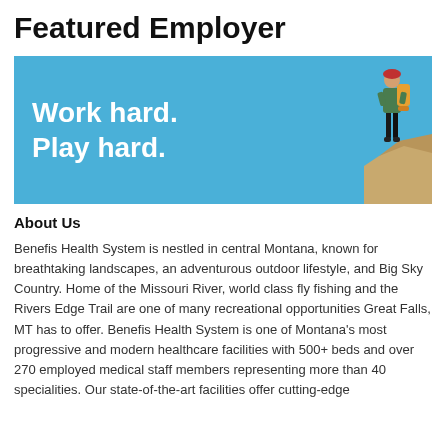Featured Employer
[Figure (illustration): Blue banner with white bold text reading 'Work hard. Play hard.' and a silhouette of a hiker/backpacker standing on rocks against a blue sky on the right side.]
About Us
Benefis Health System is nestled in central Montana, known for breathtaking landscapes, an adventurous outdoor lifestyle, and Big Sky Country. Home of the Missouri River, world class fly fishing and the Rivers Edge Trail are one of many recreational opportunities Great Falls, MT has to offer. Benefis Health System is one of Montana's most progressive and modern healthcare facilities with 500+ beds and over 270 employed medical staff members representing more than 40 specialities. Our state-of-the-art facilities offer cutting-edge